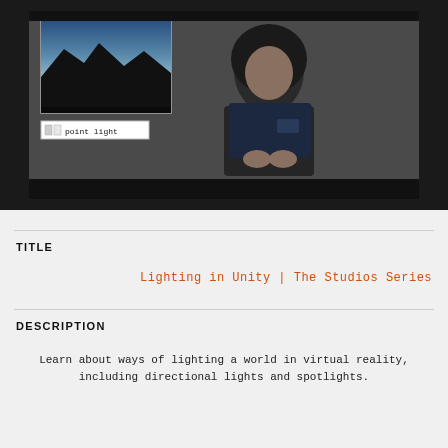[Figure (screenshot): Video screenshot showing a man with long hair and beard standing in front of a dark background. In the upper left is a small inset screen showing a dark mountain landscape against a blue sky. Below the inset is a UI element labeled 'point light'.]
TITLE
Lighting in Unity | The Studios Series
DESCRIPTION
Learn about ways of lighting a world in virtual reality, including directional lights and spotlights.